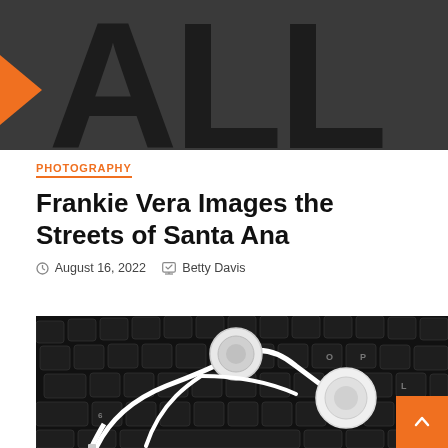[Figure (illustration): Dark gray banner with large black letters 'ALL' and an orange right-pointing arrow on the left side]
PHOTOGRAPHY
Frankie Vera Images the Streets of Santa Ana
August 16, 2022   Betty Davis
[Figure (photo): Close-up photograph of white earphones/earbuds resting on a black keyboard]